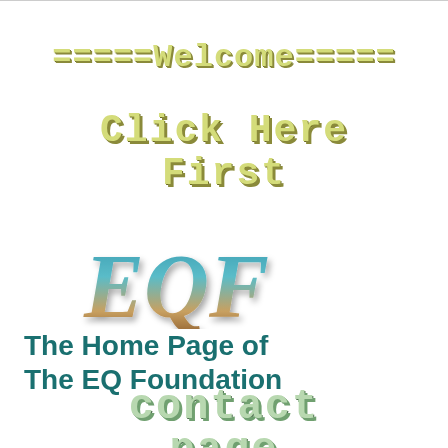=====Welcome=====
Click Here First
[Figure (logo): EQF logo in stylized italic text with gradient from teal at top to tan/brown at bottom]
The Home Page of The EQ Foundation
contact
page